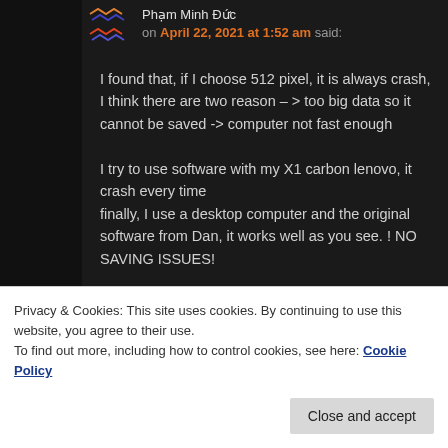Phạm Minh Đức on April 22, 2021 at 1:52 am said:
I found that, if I choose 512 pixel, it is always crash, I think there are two reason – > too big data so it cannot be saved -> computer not fast enough

I try to use software with my X1 carbon lenovo, it crash every time finally, I use a desktop computer and the original software from Dan, it works well as you see. ! NO SAVING ISSUES!
Privacy & Cookies: This site uses cookies. By continuing to use this website, you agree to their use.
To find out more, including how to control cookies, see here: Cookie Policy